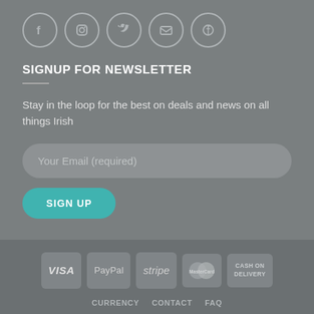[Figure (infographic): Five social media icon circles in a row: Facebook, Instagram, Twitter, Email, Pinterest]
SIGNUP FOR NEWSLETTER
Stay in the loop for the best on deals and news on all things Irish
[Figure (screenshot): Email input field with placeholder 'Your Email (required)' and a teal SIGN UP button]
[Figure (infographic): Payment method icons: VISA, PayPal, stripe, MasterCard, CASH ON DELIVERY]
CURRENCY   CONTACT   FAQ